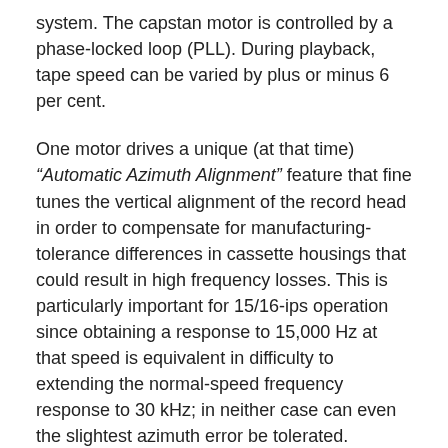system. The capstan motor is controlled by a phase-locked loop (PLL). During playback, tape speed can be varied by plus or minus 6 per cent.
One motor drives a unique (at that time) “Automatic Azimuth Alignment” feature that fine tunes the vertical alignment of the record head in order to compensate for manufacturing-tolerance differences in cassette housings that could result in high frequency losses. This is particularly important for 15/16-ips operation since obtaining a response to 15,000 Hz at that speed is equivalent in difficulty to extending the normal-speed frequency response to 30 kHz; in neither case can even the slightest azimuth error be tolerated.
The motorised azimuth adjustment is pushbutton-activated and takes only 3 to 4 seconds to complete its action. The Crystalloy record and playback heads are separate, each with its own set of alignment adjustments, but they were so miniaturised that both fit into the cassette-shell opening originally intended for a single tape head. The playback head